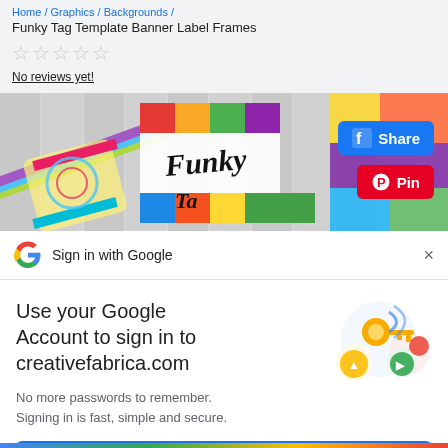Home / Graphics / Backgrounds / Funky Tag Template Banner Label Frames
No reviews yet!
[Figure (photo): Product image showing colorful funky tag template banner label frames with Facebook Share button and Pinterest Pin button overlaid]
Sign in with Google
Use your Google Account to sign in to creativefabrica.com
No more passwords to remember. Signing in is fast, simple and secure.
[Figure (illustration): Google key illustration with colorful circles]
Continue